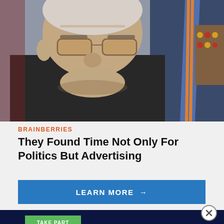[Figure (photo): Elderly man with white hair, wearing sunglasses and a dark jacket, looking downward with a serious expression. A person in a blue and orange striped tie with military medals is visible in the background.]
BRAINBERRIES
They Found Time Not Only For Politics But Advertising
LEARN MORE →
[Figure (screenshot): Dark navy blue banner section at the bottom with a green 'TAKE PART' button]
TAKE PART